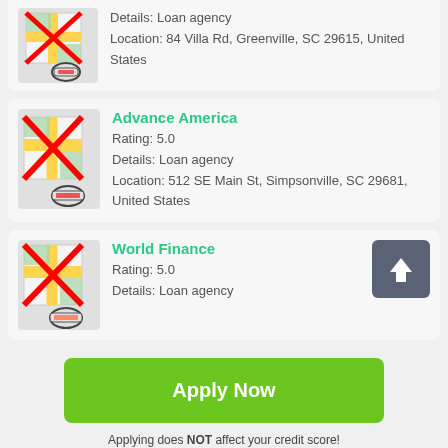[Figure (screenshot): Map icon with red X overlay and pencil/stamp icon, partial card at top]
Details: Loan agency
Location: 84 Villa Rd, Greenville, SC 29615, United States
[Figure (screenshot): Map icon with red X overlay for Advance America listing]
Advance America
Rating: 5.0
Details: Loan agency
Location: 512 SE Main St, Simpsonville, SC 29681, United States
[Figure (screenshot): Map icon with red X overlay for World Finance listing]
World Finance
Rating: 5.0
Details: Loan agency
Apply Now
Applying does NOT affect your credit score!
No credit check to apply.